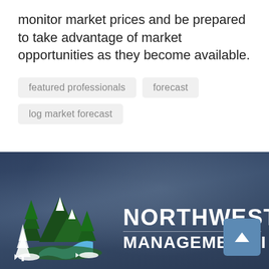monitor market prices and be prepared to take advantage of market opportunities as they become available.
featured professionals
forecast
log market forecast
[Figure (logo): Northwest Management Inc. logo with trees, mountains, river, and fish on a dark blue footer background. Company name reads NORTHWEST MANAGEMENT, I (partially visible)]